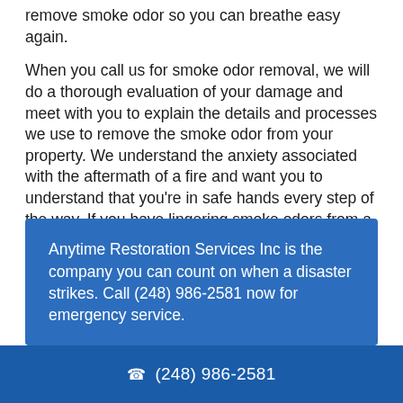remove smoke odor so you can breathe easy again.
When you call us for smoke odor removal, we will do a thorough evaluation of your damage and meet with you to explain the details and processes we use to remove the smoke odor from your property. We understand the anxiety associated with the aftermath of a fire and want you to understand that you're in safe hands every step of the way. If you have lingering smoke odors from a fire, call us today at (248) 986-2581 .
Anytime Restoration Services Inc is the company you can count on when a disaster strikes. Call (248) 986-2581 now for emergency service.
☎ (248) 986-2581